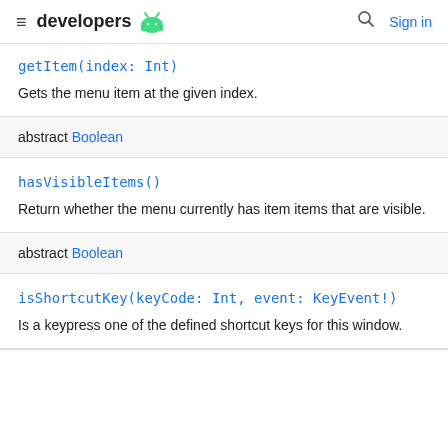developers  Sign in
getItem(index: Int)
Gets the menu item at the given index.
abstract Boolean
hasVisibleItems()
Return whether the menu currently has item items that are visible.
abstract Boolean
isShortcutKey(keyCode: Int, event: KeyEvent!)
Is a keypress one of the defined shortcut keys for this window.